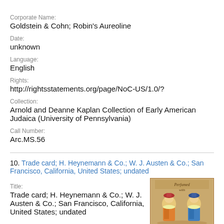Corporate Name:
Goldstein & Cohn; Robin's Aureoline
Date:
unknown
Language:
English
Rights:
http://rightsstatements.org/page/NoC-US/1.0/?
Collection:
Arnold and Deanne Kaplan Collection of Early American Judaica (University of Pennsylvania)
Call Number:
Arc.MS.56
10. Trade card; H. Heynemann & Co.; W. J. Austen & Co.; San Francisco, California, United States; undated
Title:
Trade card; H. Heynemann & Co.; W. J. Austen & Co.; San Francisco, California, United States; undated
[Figure (photo): Trade card thumbnail image showing two decoratively dressed figures, appears to be a perfume advertisement card]